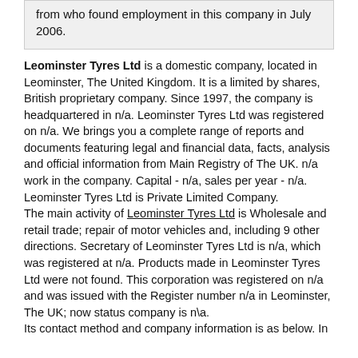from who found employment in this company in July 2006.
Leominster Tyres Ltd is a domestic company, located in Leominster, The United Kingdom. It is a limited by shares, British proprietary company. Since 1997, the company is headquartered in n/a. Leominster Tyres Ltd was registered on n/a. We brings you a complete range of reports and documents featuring legal and financial data, facts, analysis and official information from Main Registry of The UK. n/a work in the company. Capital - n/a, sales per year - n/a. Leominster Tyres Ltd is Private Limited Company. The main activity of Leominster Tyres Ltd is Wholesale and retail trade; repair of motor vehicles and, including 9 other directions. Secretary of Leominster Tyres Ltd is n/a, which was registered at n/a. Products made in Leominster Tyres Ltd were not found. This corporation was registered on n/a and was issued with the Register number n/a in Leominster, The UK; now status company is n\a. Its contact method and company information is as below. In